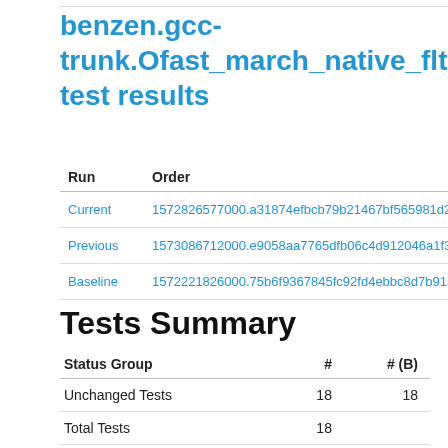benzen.gcc-trunk.Ofast_march_native_flto test results
| Run | Order |
| --- | --- |
| Current | 1572826577000.a31874efbcb79b21467bf565981d21c9f60caa |
| Previous | 1573086712000.e9058aa7765dfb06c4d912046a1f31c189e2f9 |
| Baseline | 1572221826000.75b6f9367845fc92fd4ebbc8d7b9156e044a9f |
Tests Summary
| Status Group | # | # (B) |
| --- | --- | --- |
| Unchanged Tests | 18 | 18 |
| Total Tests | 18 |  |